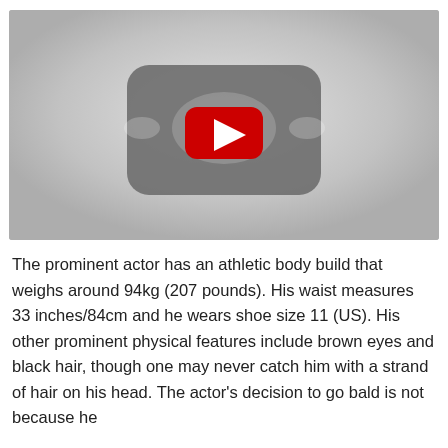[Figure (screenshot): YouTube video placeholder with dark rounded rectangle icon and red play button in center on light gray background]
The prominent actor has an athletic body build that weighs around 94kg (207 pounds). His waist measures 33 inches/84cm and he wears shoe size 11 (US). His other prominent physical features include brown eyes and black hair, though one may never catch him with a strand of hair on his head. The actor's decision to go bald is not because he